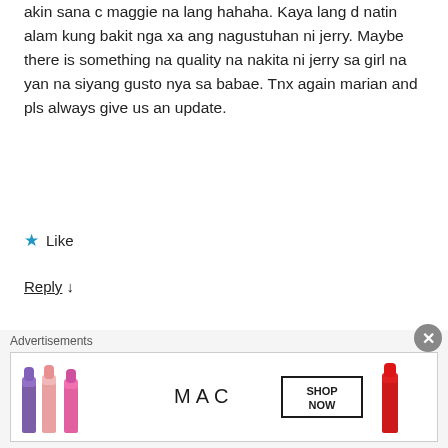akin sana c maggie na lang hahaha. Kaya lang d natin alam kung bakit nga xa ang nagustuhan ni jerry. Maybe there is something na quality na nakita ni jerry sa girl na yan na siyang gusto nya sa babae. Tnx again marian and pls always give us an update.
★ Like
Reply ↓
Jane
December 2, 2015 at 6:36 pm
I am so excited for jerry and Seanne. She's prettier than
[Figure (advertisement): MAC Cosmetics advertisement banner showing lipsticks in purple, pink, and red with MAC logo and SHOP NOW button]